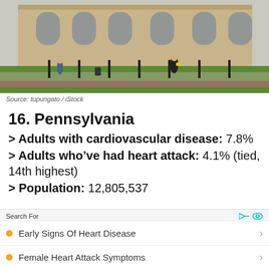[Figure (photo): Outdoor photo of a large stone university or government building with green lawn, pedestrians walking, black iron fence posts, and flower beds in the foreground.]
Source: tupungato / iStock
16. Pennsylvania
> Adults with cardiovascular disease: 7.8%
> Adults who've had heart attack: 4.1% (tied, 14th highest)
> Population: 12,805,537
Search For
Early Signs Of Heart Disease
Female Heart Attack Symptoms